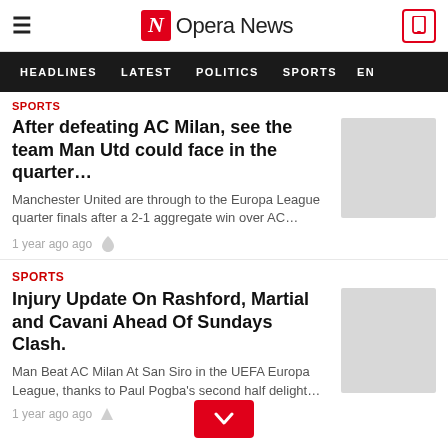Opera News
HEADLINES  LATEST  POLITICS  SPORTS  EN
SPORTS
After defeating AC Milan, see the team Man Utd could face in the quarter…
Manchester United are through to the Europa League quarter finals after a 2-1 aggregate win over AC…
1 year ago ago
SPORTS
Injury Update On Rashford, Martial and Cavani Ahead Of Sundays Clash.
Man Beat AC Milan At San Siro in the UEFA Europa League, thanks to Paul Pogba's second half delight…
1 year ago ago